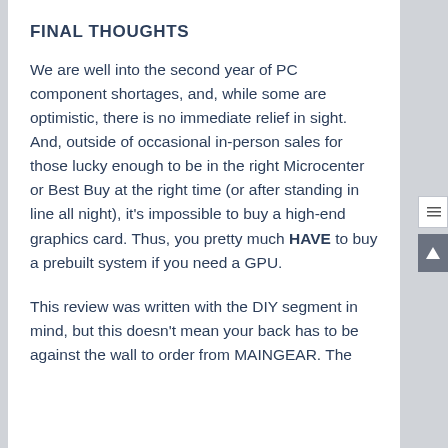FINAL THOUGHTS
We are well into the second year of PC component shortages, and, while some are optimistic, there is no immediate relief in sight. And, outside of occasional in-person sales for those lucky enough to be in the right Microcenter or Best Buy at the right time (or after standing in line all night), it's impossible to buy a high-end graphics card. Thus, you pretty much HAVE to buy a prebuilt system if you need a GPU.
This review was written with the DIY segment in mind, but this doesn't mean your back has to be against the wall to order from MAINGEAR. The